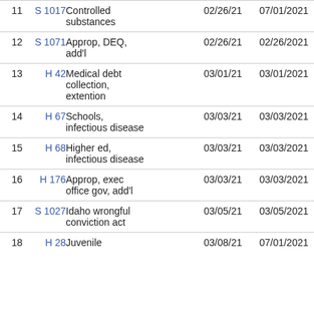| # | Bill | Description | Date1 | Date2 |
| --- | --- | --- | --- | --- |
| 11 | S 1017 | Controlled substances | 02/26/21 | 07/01/2021 |
| 12 | S 1071 | Approp, DEQ, add'l | 02/26/21 | 02/26/2021 |
| 13 | H 42 | Medical debt collection, extention | 03/01/21 | 03/01/2021 |
| 14 | H 67 | Schools, infectious disease | 03/03/21 | 03/03/2021 |
| 15 | H 68 | Higher ed, infectious disease | 03/03/21 | 03/03/2021 |
| 16 | H 176 | Approp, exec office gov, add'l | 03/03/21 | 03/03/2021 |
| 17 | S 1027 | Idaho wrongful conviction act | 03/05/21 | 03/05/2021 |
| 18 | H 28 | Juvenile | 03/08/21 | 07/01/2021 |